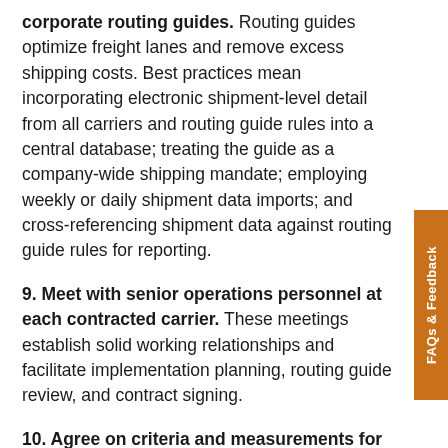corporate routing guides. Routing guides optimize freight lanes and remove excess shipping costs. Best practices mean incorporating electronic shipment-level detail from all carriers and routing guide rules into a central database; treating the guide as a company-wide shipping mandate; employing weekly or daily shipment data imports; and cross-referencing shipment data against routing guide rules for reporting.
9. Meet with senior operations personnel at each contracted carrier. These meetings establish solid working relationships and facilitate implementation planning, routing guide review, and contract signing.
10. Agree on criteria and measurements for performance evaluation. Create a methodology and metrics explicitly stating your expectations, measuring effective carrier performance, and alerting both carriers and shippers if service expectations are not being met.